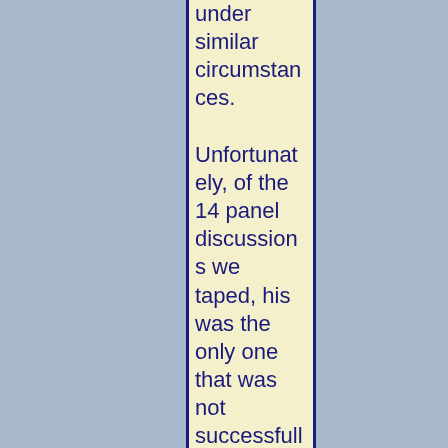under similar circumstances. Unfortunately, of the 14 panel discussions we taped, his was the only one that was not successfully recorded. We were using remote microphones and the